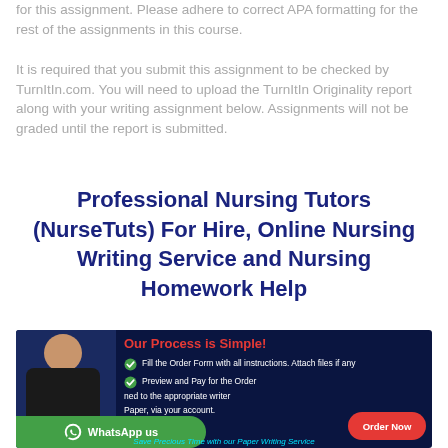for this assignment. Please adhere to correct APA formatting for the rest of the assignments in this course.
It is required that you submit this assignment to be checked by TurnItIn.com. You will need to upload the TurnItIn Originality report along with your writing assignment below. Assignments will not be graded until the report is submitted.
Professional Nursing Tutors (NurseTuts) For Hire, Online Nursing Writing Service and Nursing Homework Help
[Figure (infographic): Dark navy blue banner advertising a nursing writing service. Shows a woman smiling, 'Our Process is Simple!' in red, checklist items in white, a green WhatsApp button, a red Order Now button, and cyan italic text 'Save Precious Time with our Paper Writing Service'.]